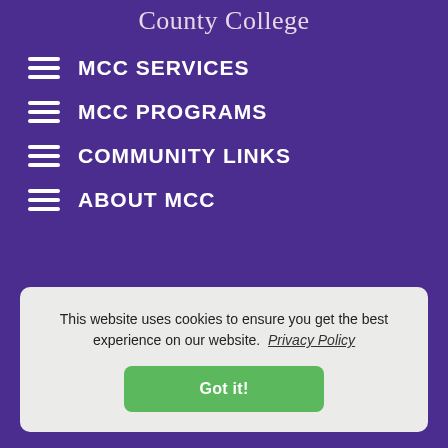County College
MCC SERVICES
MCC PROGRAMS
COMMUNITY LINKS
ABOUT MCC
This website uses cookies to ensure you get the best experience on our website.  Privacy Policy
Got it!